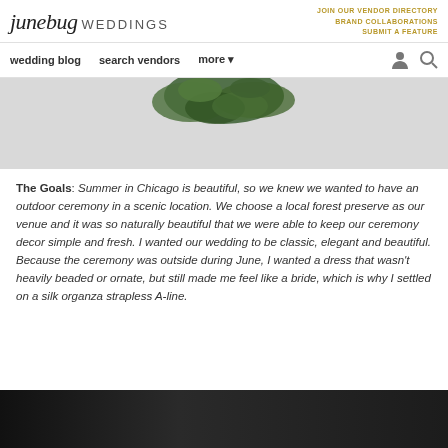junebug WEDDINGS | JOIN OUR VENDOR DIRECTORY | BRAND COLLABORATIONS | SUBMIT A FEATURE
wedding blog   search vendors   more
[Figure (photo): Partial view of green floral arrangement / greenery hanging or displayed against a light grey background, cropped at top of page]
The Goals: Summer in Chicago is beautiful, so we knew we wanted to have an outdoor ceremony in a scenic location. We choose a local forest preserve as our venue and it was so naturally beautiful that we were able to keep our ceremony decor simple and fresh. I wanted our wedding to be classic, elegant and beautiful. Because the ceremony was outside during June, I wanted a dress that wasn't heavily beaded or ornate, but still made me feel like a bride, which is why I settled on a silk organza strapless A-line.
[Figure (photo): Dark/night photo partially visible at bottom of page, appears to show people in formal wear]